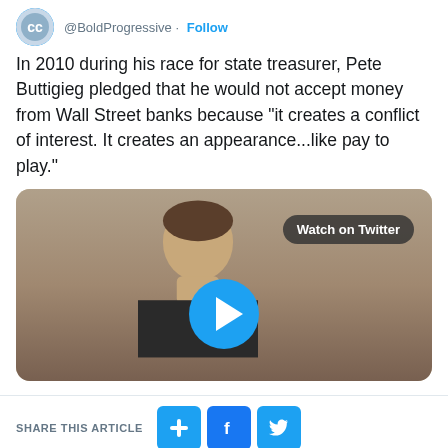[Figure (screenshot): Twitter avatar for @BoldProgressive with circular logo and handle with Follow button]
In 2010 during his race for state treasurer, Pete Buttigieg pledged that he would not accept money from Wall Street banks because “it creates a conflict of interest. It creates an appearance…like pay to play.”
[Figure (screenshot): Embedded Twitter video thumbnail showing a man with a Watch on Twitter button and a blue play circle overlay]
SHARE THIS ARTICLE
[Figure (infographic): Share buttons: plus icon, Facebook f icon, Twitter bird icon]
RELATED NEWS